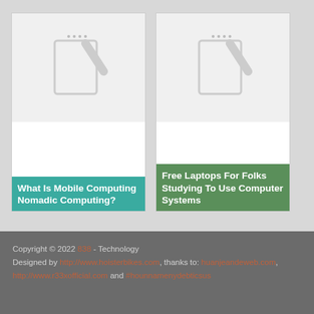[Figure (screenshot): Card thumbnail: What Is Mobile Computing Nomadic Computing? with teal background label]
[Figure (screenshot): Card thumbnail: Free Laptops For Folks Studying To Use Computer Systems with green background label]
[Figure (screenshot): Social sharing widget with Like (0) button and Tweet button]
Copyright © 2022 838 - Technology
Designed by http://www.hoisterbikes.com, thanks to: huanjeandeweb.com,
http://www.r33xofficial.com and #hounnamenydebticsus